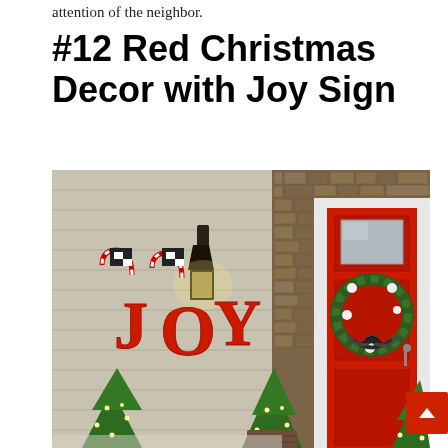attention of the neighbor.
#12 Red Christmas Decor with Joy Sign
[Figure (photo): A cozy home exterior decorated for Christmas featuring a bold red front door with a wreath hanging on it, large red JOY letters mounted on the siding wall with candy-cane style decorations on top, a vintage wall lantern, small lit Christmas trees near the entrance, and a stone-accented doorway arch.]